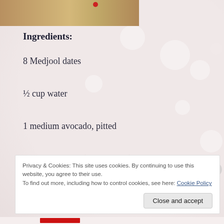[Figure (photo): Partial photo of a person with blonde hair and red lips, cropped at top of page]
Ingredients:
8 Medjool dates
½ cup water
1 medium avocado, pitted
2 small bananas (or 1 ½ large)
Privacy & Cookies: This site uses cookies. By continuing to use this website, you agree to their use.
To find out more, including how to control cookies, see here: Cookie Policy
Close and accept